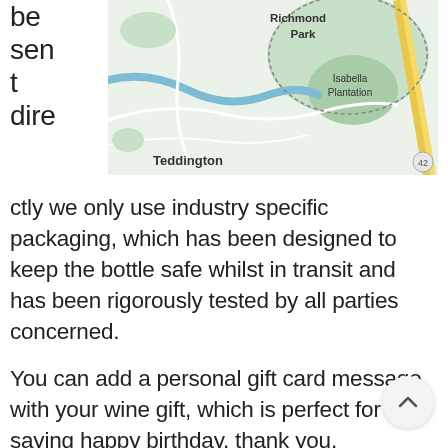[Figure (map): Google Maps screenshot showing Richmond Park, Isabella Plantation, and Teddington area]
be sent directly we only use industry specific packaging, which has been designed to keep the bottle safe whilst in transit and has been rigorously tested by all parties concerned.

You can add a personal gift card message with your wine gift, which is perfect for saying happy birthday, thank you, congratulations, best wishes, sorry you're leaving, happy retirement, get well soon or even I love